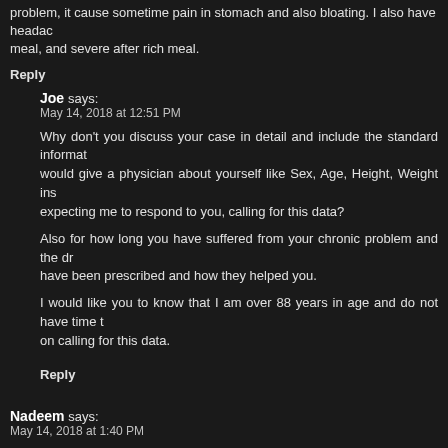problem, it cause sometime pain in stomach and also bloating. I also have headache after meal, and severe after rich meal.
Reply
Joe says:
May 14, 2018 at 12:51 PM
Why don't you discuss your case in detail and include the standard information you would give a physician about yourself like Sex, Age, Height, Weight instead of expecting me to respond to you, calling for this data?
Also for how long you have suffered from your chronic problem and the drugs you have been prescribed and how they helped you.
I would like you to know that I am over 88 years in age and do not have time to waste on calling for this data.
Reply
Nadeem says:
May 14, 2018 at 1:40 PM
Hello Dr. Joe
I am extremely sorry for my last thread to not giving you enough data.
Here are my Info
Name: Muhammad Nadeem
Sex: Male
Age: 31